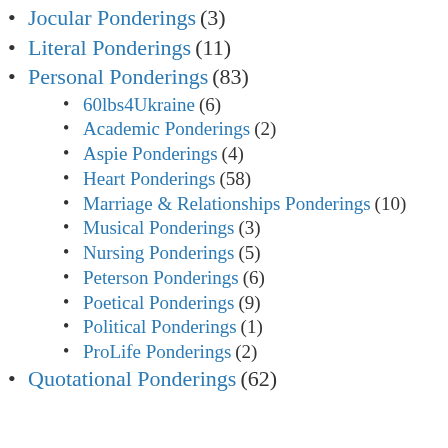Jocular Ponderings (3)
Literal Ponderings (11)
Personal Ponderings (83)
60lbs4Ukraine (6)
Academic Ponderings (2)
Aspie Ponderings (4)
Heart Ponderings (58)
Marriage & Relationships Ponderings (10)
Musical Ponderings (3)
Nursing Ponderings (5)
Peterson Ponderings (6)
Poetical Ponderings (9)
Political Ponderings (1)
ProLife Ponderings (2)
Quotational Ponderings (62)